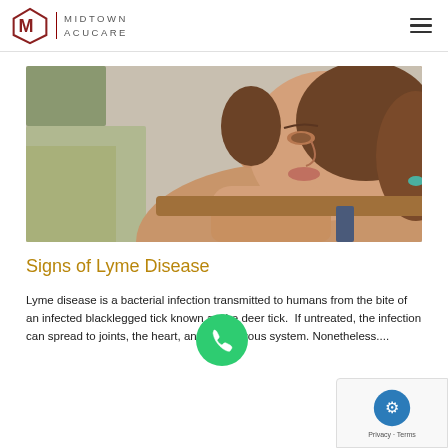MIDTOWN ACUCARE
[Figure (photo): Woman resting her chin on her hands, looking pensive, outdoors with blurred rocky landscape background]
Signs of Lyme Disease
Lyme disease is a bacterial infection transmitted to humans from the bite of an infected blacklegged tick known as the deer tick. If untreated, the infection can spread to joints, the heart, and the nervous system. Nonetheless....